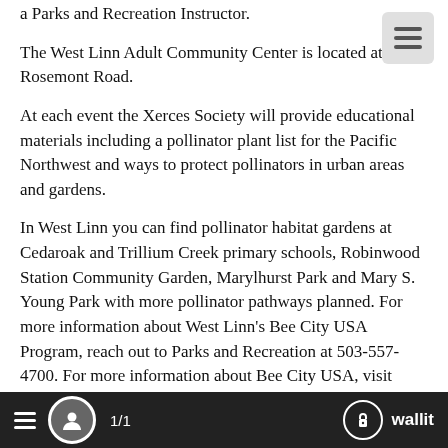a Parks and Recreation Instructor.
The West Linn Adult Community Center is located at 1180 Rosemont Road.
At each event the Xerces Society will provide educational materials including a pollinator plant list for the Pacific Northwest and ways to protect pollinators in urban areas and gardens.
In West Linn you can find pollinator habitat gardens at Cedaroak and Trillium Creek primary schools, Robinwood Station Community Garden, Marylhurst Park and Mary S. Young Park with more pollinator pathways planned. For more information about West Linn's Bee City USA Program, reach out to Parks and Recreation at 503-557-4700. For more information about Bee City USA, visit beecityusa.org and for more information about the Xerces Society, visit xerces.org.
Did you know that from Maddax Woods you can view one of the large great blue heron rookeries on the Willamette River? The
1/1   wallit